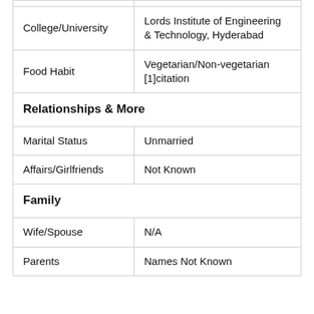|  |  |
| College/University | Lords Institute of Engineering & Technology, Hyderabad |
| Food Habit | Vegetarian/Non-vegetarian [1]citation |
| Relationships & More |  |
| Marital Status | Unmarried |
| Affairs/Girlfriends | Not Known |
| Family |  |
| Wife/Spouse | N/A |
| Parents | Names Not Known |